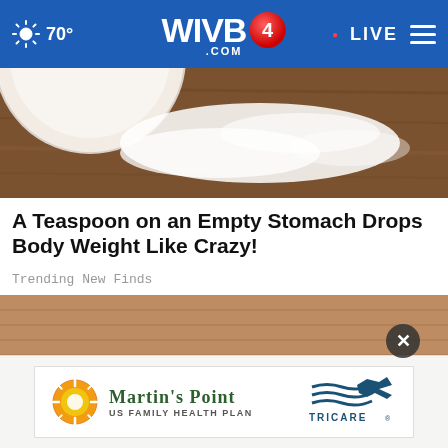70° WIVB4.COM • LIVE
[Figure (photo): Close-up photo of a white bowl and white powder (likely sugar or salt) spilled on a wooden surface, viewed from above.]
A Teaspoon on an Empty Stomach Drops Body Weight Like Crazy!
Trending New Finds
[Figure (photo): Close-up photo of a person's lips with red lipstick, partially covered by a textured knit fabric or sweater.]
[Figure (logo): Martin's Point US Family Health Plan advertisement featuring a sunburst logo and TRICARE logo.]